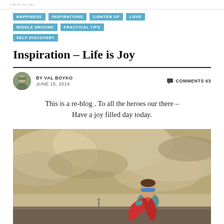Life is Joy logo / header
HAPPINESS
INSPIRATIONS
LIGHTEN UP
LOVE
MIDDLE GROUND
PRACTICAL TIPS
SELF DISCOVERY
Inspiration – Life is Joy
BY VAL BOYKO   COMMENTS 63   JUNE 15, 2019
This is a re-blog . To all the heroes our there – Have a joy filled day today.
[Figure (photo): A child dressed as a superhero with a red cape and blue eye mask, sitting on a ledge against a dramatic cloudy sky background.]